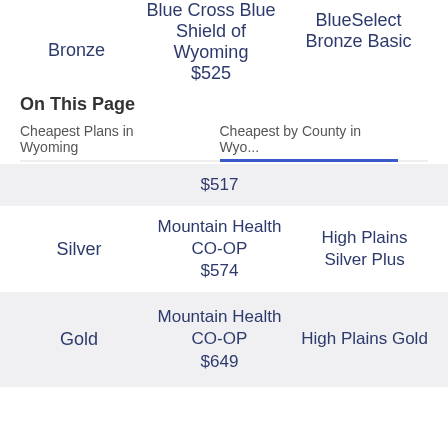| Tier | Cheapest Plan | Alternative |
| --- | --- | --- |
| Bronze | Blue Cross Blue Shield of Wyoming
$525 | BlueSelect Bronze Basic |
|  | $517 |  |
| Silver | Mountain Health CO-OP
$574 | High Plains Silver Plus |
| Gold | Mountain Health CO-OP
$649 | High Plains Gold |
On This Page
Cheapest Plans in Wyoming    Cheapest by County in Wyoming